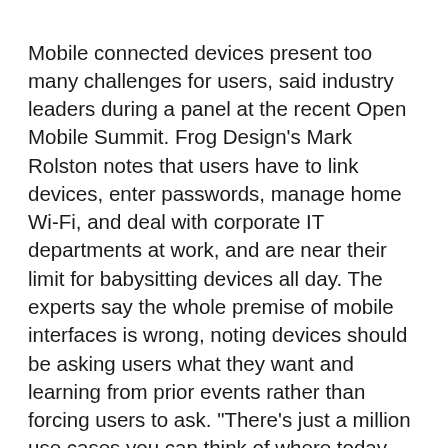Mobile connected devices present too many challenges for users, said industry leaders during a panel at the recent Open Mobile Summit. Frog Design's Mark Rolston notes that users have to link devices, enter passwords, manage home Wi-Fi, and deal with corporate IT departments at work, and are near their limit for babysitting devices all day. The experts say the whole premise of mobile interfaces is wrong, noting devices should be asking users what they want and learning from prior events rather than forcing users to ask. "There's just a million use cases you can think of where today there's [an] interface to try to understand what the user wants, and in the future there should just be action that does the right thing," says Rick Osterloh at Google's Motorola Mobility subsidiary. He says a car should automatically connect to the Internet by itself and automatically turn on the light when the driver reaches home. Rolston also notes that rather than using a phone to control devices in the home, the many connected appliances together should form a computer of their own. "The computer is not this box in the corner, or box in your pocket, it's something you are surrounded by," Rolston says.